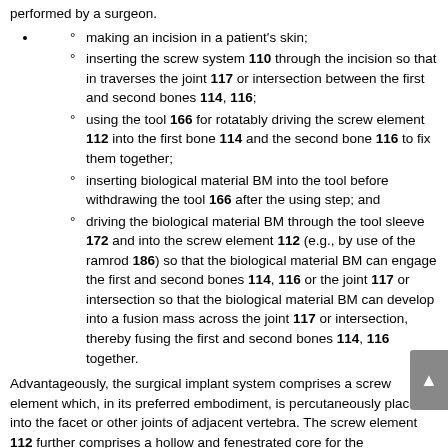performed by a surgeon.
making an incision in a patient's skin;
inserting the screw system 110 through the incision so that in traverses the joint 117 or intersection between the first and second bones 114, 116;
using the tool 166 for rotatably driving the screw element 112 into the first bone 114 and the second bone 116 to fix them together;
inserting biological material BM into the tool before withdrawing the tool 166 after the using step; and
driving the biological material BM through the tool sleeve 172 and into the screw element 112 (e.g., by use of the ramrod 186) so that the biological material BM can engage the first and second bones 114, 116 or the joint 117 or intersection so that the biological material BM can develop into a fusion mass across the joint 117 or intersection, thereby fusing the first and second bones 114, 116 together.
Advantageously, the surgical implant system comprises a screw element which, in its preferred embodiment, is percutaneously placed into the facet or other joints of adjacent vertebra. The screw element 112 further comprises a hollow and fenestrated core for the placement of biological material BM for the promotion of...